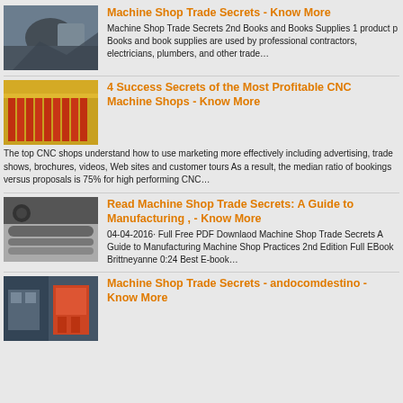[Figure (photo): Machine shop / metalworking image, dark tones]
Machine Shop Trade Secrets - Know More
Machine Shop Trade Secrets 2nd Books and Books Supplies 1 product p Books and book supplies are used by professional contractors, electricians, plumbers, and other trade…
[Figure (photo): Yellow and red rack/slat industrial equipment]
4 Success Secrets of the Most Profitable CNC Machine Shops - Know More
The top CNC shops understand how to use marketing more effectively including advertising, trade shows, brochures, videos, Web sites and customer tours As a result, the median ratio of bookings versus proposals is 75% for high performing CNC…
[Figure (photo): Industrial roller/conveyor machine shop equipment]
Read Machine Shop Trade Secrets: A Guide to Manufacturing , - Know More
04-04-2016· Full Free PDF Downlaod Machine Shop Trade Secrets A Guide to Manufacturing Machine Shop Practices 2nd Edition Full EBook Brittneyanne 0:24 Best E-book…
[Figure (photo): Machine shop interior with equipment]
Machine Shop Trade Secrets - andocomdestino - Know More